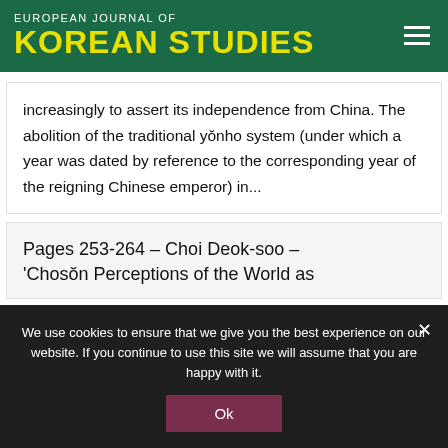EUROPEAN JOURNAL OF KOREAN STUDIES
increasingly to assert its independence from China. The abolition of the traditional yŏnho system (under which a year was dated by reference to the corresponding year of the reigning Chinese emperor) in...
Pages 253-264 – Choi Deok-soo – 'Chosŏn Perceptions of the World as
We use cookies to ensure that we give you the best experience on our website. If you continue to use this site we will assume that you are happy with it.